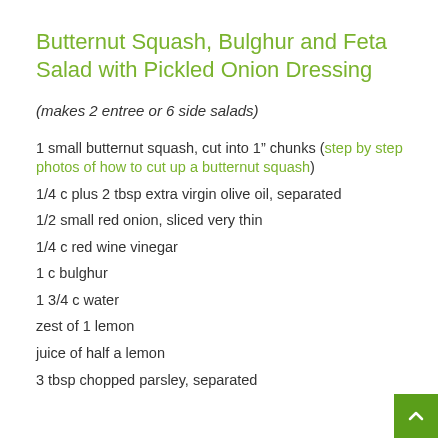Butternut Squash, Bulghur and Feta Salad with Pickled Onion Dressing
(makes 2 entree or 6 side salads)
1 small butternut squash, cut into 1” chunks (step by step photos of how to cut up a butternut squash)
1/4 c plus 2 tbsp extra virgin olive oil, separated
1/2 small red onion, sliced very thin
1/4 c red wine vinegar
1 c bulghur
1 3/4 c water
zest of 1 lemon
juice of half a lemon
3 tbsp chopped parsley, separated